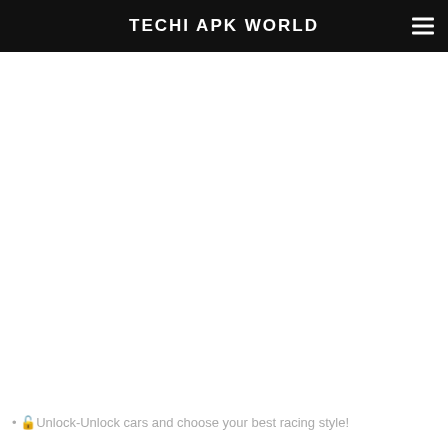TECHI APK WORLD
• 🔓Unlock-Unlock cars and choose your best racing style!